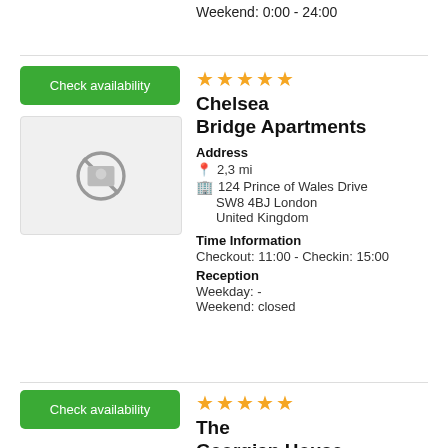Weekend: 0:00 - 24:00
[Figure (other): Check availability button (green) for Chelsea Bridge Apartments]
[Figure (photo): Placeholder image with no-image icon for Chelsea Bridge Apartments]
Chelsea Bridge Apartments
Address
2,3 mi
124 Prince of Wales Drive
SW8 4BJ London
United Kingdom
Time Information
Checkout: 11:00 - Checkin: 15:00
Reception
Weekday: -
Weekend: closed
[Figure (other): Check availability button (green) for The Georgian House]
The Georgian House